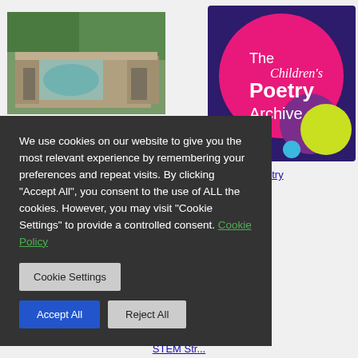[Figure (photo): Aerial photograph of ancient ruins or historic building complex with trees and a blue pool/pond visible]
[Figure (logo): The Children's Poetry Archive logo — dark purple background with large pink circle, smaller purple and lime green overlapping circles, small blue circle, and white text reading 'The Children's Poetry Archive']
en's Poetry Archive
We use cookies on our website to give you the most relevant experience by remembering your preferences and repeat visits. By clicking "Accept All", you consent to the use of ALL the cookies. However, you may visit "Cookie Settings" to provide a controlled consent. Cookie Policy
Cookie Settings
Accept All
Reject All
STEM Str...